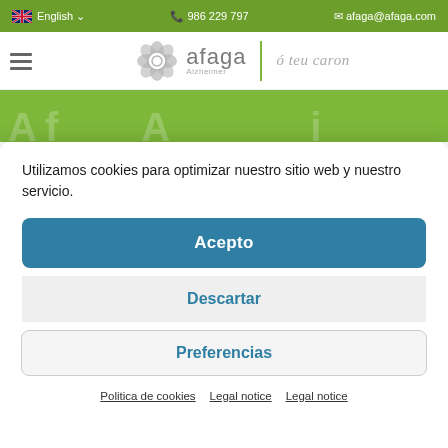English | 986 229 797 | afaga@afaga.com
[Figure (logo): Afaga Alzheimer logo with flower icon and tagline 'ó teu caron']
[Figure (screenshot): Partial green hero banner with large faded letters]
Utilizamos cookies para optimizar nuestro sitio web y nuestro servicio.
Acepto
Descartar
Preferencias
Politica de cookies   Legal notice   Legal notice